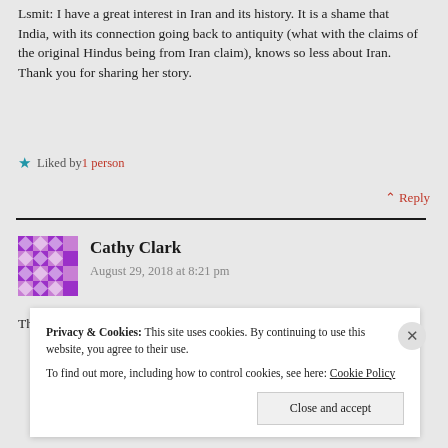Lsmit: I have a great interest in Iran and its history. It is a shame that India, with its connection going back to antiquity (what with the claims of the original Hindus being from Iran claim), knows so less about Iran. Thank you for sharing her story.
★ Liked by 1 person
^ Reply
Cathy Clark
August 29, 2018 at 8:21 pm
Thank you for doing the research and writing about
Privacy & Cookies: This site uses cookies. By continuing to use this website, you agree to their use. To find out more, including how to control cookies, see here: Cookie Policy
Close and accept